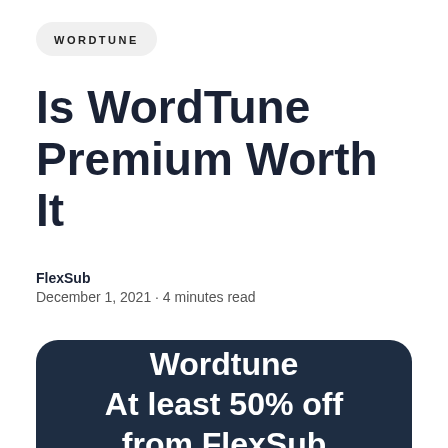WORDTUNE
Is WordTune Premium Worth It
FlexSub
December 1, 2021 · 4 minutes read
[Figure (infographic): Dark navy promotional card with text: Wordtune At least 50% off from FlexSub]